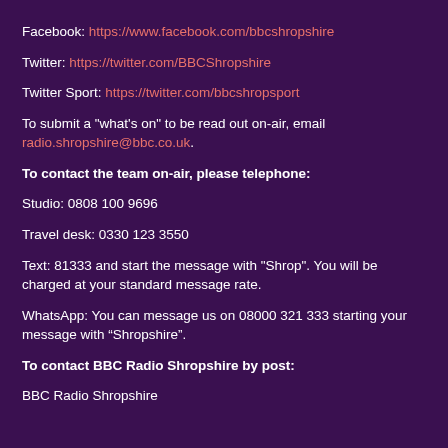Facebook: https://www.facebook.com/bbcshropshire
Twitter: https://twitter.com/BBCShropshire
Twitter Sport: https://twitter.com/bbcshropsport
To submit a "what's on" to be read out on-air, email radio.shropshire@bbc.co.uk.
To contact the team on-air, please telephone:
Studio: 0808 100 9696
Travel desk: 0330 123 3550
Text: 81333 and start the message with "Shrop". You will be charged at your standard message rate.
WhatsApp: You can message us on 08000 321 333 starting your message with “Shropshire”.
To contact BBC Radio Shropshire by post:
BBC Radio Shropshire